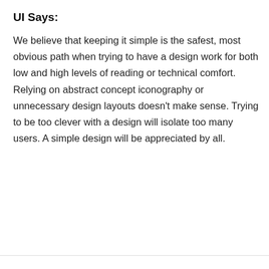UI Says:
We believe that keeping it simple is the safest, most obvious path when trying to have a design work for both low and high levels of reading or technical comfort. Relying on abstract concept iconography or unnecessary design layouts doesn't make sense. Trying to be too clever with a design will isolate too many users. A simple design will be appreciated by all.
[Figure (screenshot): Blue cookie consent overlay with text: 'This website uses cookies to improve your experience. We'll assume you're ok with this, but you can opt-out if you wish. Learn more' and a 'Got it!' button. A screenshot thumbnail is partially visible on the right side with a scroll-to-top button.]